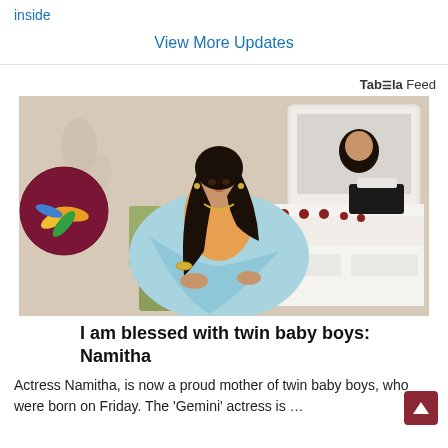inside
View More Updates
Taboola Feed
[Figure (photo): A woman in a light blue saree seated in a chair, with long dark hair, jewelry, in front of a mirror and dressing table area.]
I am blessed with twin baby boys: Namitha
Actress Namitha, is now a proud mother of twin baby boys, who were born on Friday. The 'Gemini' actress is …